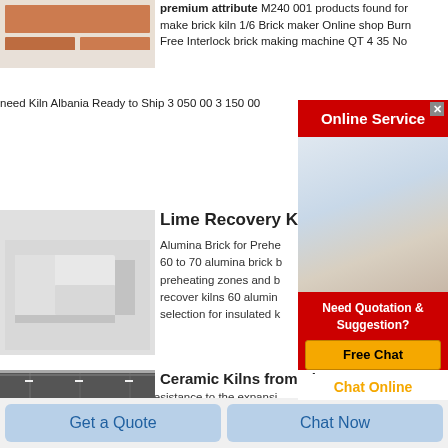[Figure (photo): Brick product photo showing orange/red bricks]
premium attribute M240 001 products found for make brick kiln 1/6 Brick maker Online shop Burn Free Interlock brick making machine QT 4 35 No need Kiln Albania Ready to Ship 3 050 00 3 150 00
[Figure (other): Online Service widget with red bar, agent photo, quotation box with Free Chat button and Chat Online text]
[Figure (photo): White/grey alumina bricks product photo]
Lime Recovery K
Alumina Brick for Prehe 60 to 70 alumina brick b preheating zones and b recover kilns 60 alumin selection for insulated k alumina brick offer increased resistance to the expansi cause alkali spalling
[Figure (photo): Industrial ceramic kiln facility interior photo]
Ceramic Kilns from Skutt
Ceramic Kiln Models All the Ceramic Kilns Skutt
Get a Quote
Chat Now